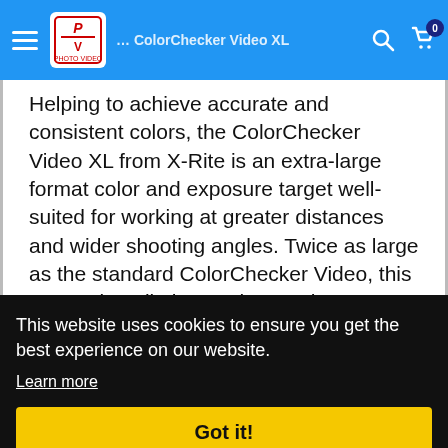ColorChecker Video XL
Helping to achieve accurate and consistent colors, the ColorChecker Video XL from X-Rite is an extra-large format color and exposure target well-suited for working at greater distances and wider shooting angles. Twice as large as the standard ColorChecker Video, this XL version eliminates the need to move your camera or adjust the focal length simply to record the target in the scene. Besides its larger size, this XL target contains the same chromatic colors
This website uses cookies to ensure you get the best experience on our website.
Learn more
Got it!